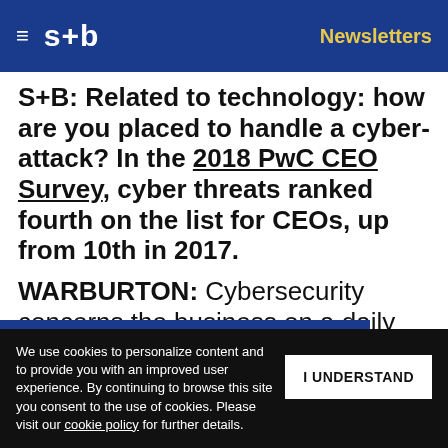≡ s+b  Newsletters
S+B: Related to technology: how are you placed to handle a cyber-attack? In the 2018 PwC CEO Survey, cyber threats ranked fourth on the list for CEOs, up from 10th in 2017.
WARBURTON: Cybersecurity concerns the business on a daily basis. We turn our stock over 363 days a year. We visit 19,000 customers a day. We probably make in excess of [transactions] every week. We're [vulnerable, but] the Pentagon is
Get s+b's award-winning newsletter delivered to your inbox.
We use cookies to personalize content and to provide you with an improved user experience. By continuing to browse this site you consent to the use of cookies. Please visit our cookie policy for further details.